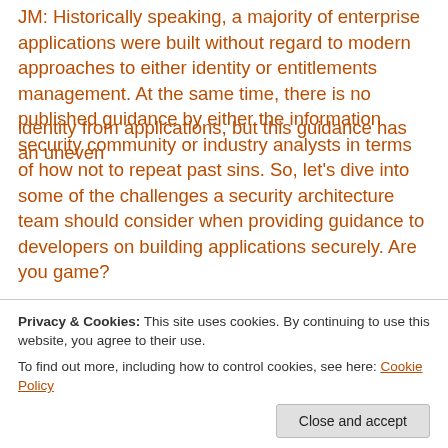JM: Historically speaking, a majority of enterprise applications were built without regard to modern approaches to either identity or entitlements management. At the same time, there is no published guidance by either the information security community or industry analysts in terms of how not to repeat past sins. So, let's dive into some of the challenges a security architecture team should consider when providing guidance to developers on building applications securely. Are you game?
GG: Definitely! I think it remains an issue that applications
identity from applications, but this guidance has an uneven
Privacy & Cookies: This site uses cookies. By continuing to use this website, you agree to their use. To find out more, including how to control cookies, see here: Cookie Policy